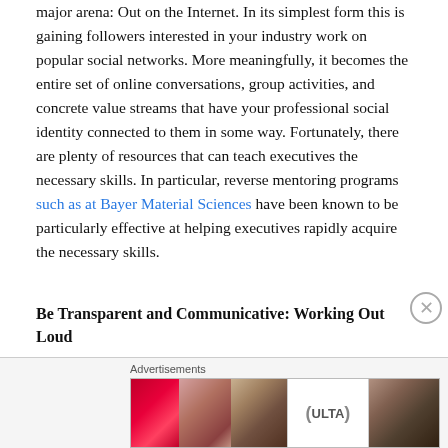major arena: Out on the Internet. In its simplest form this is gaining followers interested in your industry work on popular social networks. More meaningfully, it becomes the entire set of online conversations, group activities, and concrete value streams that have your professional social identity connected to them in some way. Fortunately, there are plenty of resources that can teach executives the necessary skills. In particular, reverse mentoring programs such as at Bayer Material Sciences have been known to be particularly effective at helping executives rapidly acquire the necessary skills.
Be Transparent and Communicative: Working Out Loud
[Figure (other): Advertisement banner for ULTA Beauty showing cosmetic product images (lips with lipstick, makeup brush, eye with eyeshadow, ULTA logo, eyes with makeup) with SHOP NOW call to action]